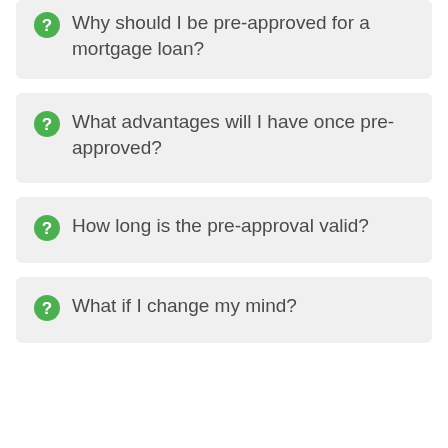Why should I be pre-approved for a mortgage loan?
What advantages will I have once pre-approved?
How long is the pre-approval valid?
What if I change my mind?